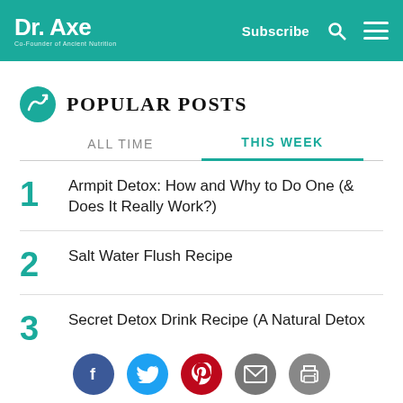Dr. Axe — Co-Founder of Ancient Nutrition | Subscribe
POPULAR POSTS
ALL TIME | THIS WEEK
1. Armpit Detox: How and Why to Do One (& Does It Really Work?)
2. Salt Water Flush Recipe
3. Secret Detox Drink Recipe (A Natural Detox...